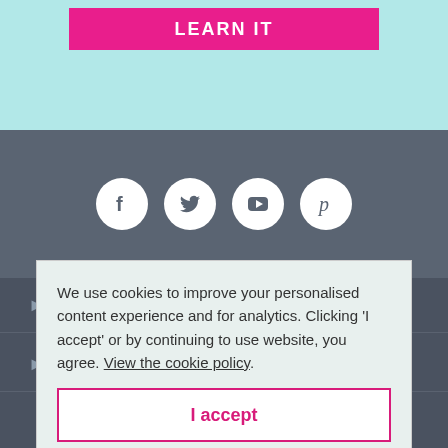[Figure (other): Pink donate/LEARN IT button on teal background]
[Figure (other): Social media icons row: Facebook, Twitter, YouTube, Pinterest - white circles on dark grey background]
Collect donations
Useful
Support
We use cookies to improve your personalised content experience and for analytics. Clicking 'I accept' or by continuing to use website, you agree. View the cookie policy.
I accept